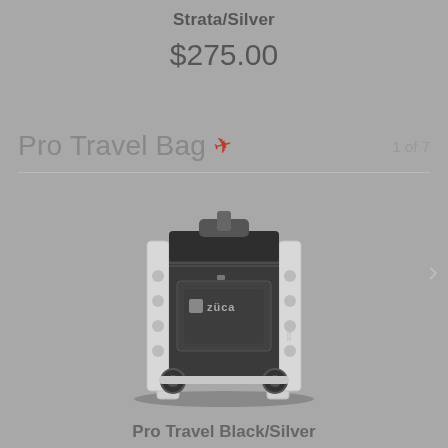Strata/Silver
$275.00
Pro Travel Bag ✈ 1 of 7
[Figure (photo): Zuca Pro Travel Bag in black and silver colorway, a wheeled luggage bag with silver frame and black insert, shown at an angle. The bag has the Zuca logo on the front pocket.]
Pro Travel Black/Silver